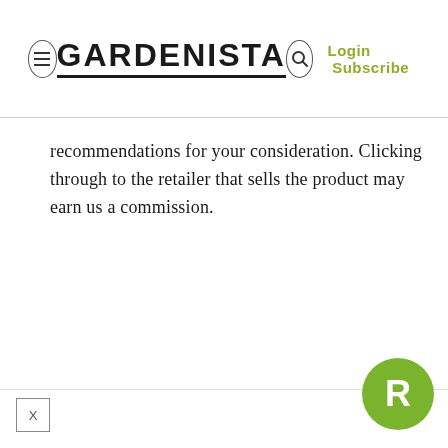GARDENISTA  Login Subscribe
recommendations for your consideration. Clicking through to the retailer that sells the product may earn us a commission.
X  R